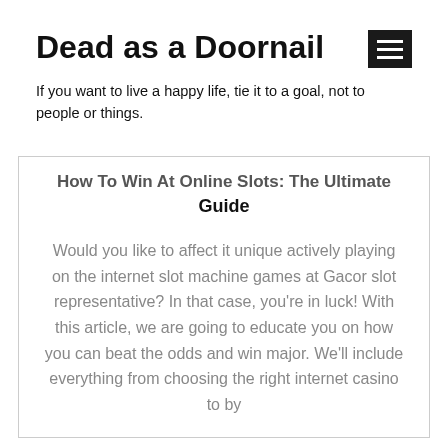Dead as a Doornail
If you want to live a happy life, tie it to a goal, not to people or things.
How To Win At Online Slots: The Ultimate Guide
Would you like to affect it unique actively playing on the internet slot machine games at Gacor slot representative? In that case, you’re in luck! With this article, we are going to educate you on how you can beat the odds and win major. We’ll include everything from choosing the right internet casino to by
READ MORE